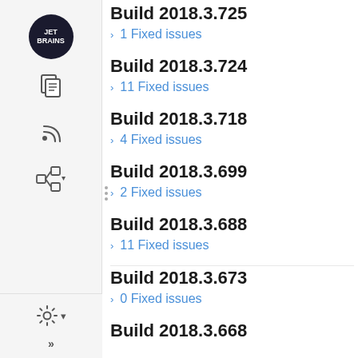Build 2018.3.725
1 Fixed issues
Build 2018.3.724
11 Fixed issues
Build 2018.3.718
4 Fixed issues
Build 2018.3.699
2 Fixed issues
Build 2018.3.688
11 Fixed issues
Build 2018.3.673
0 Fixed issues
Build 2018.3.668